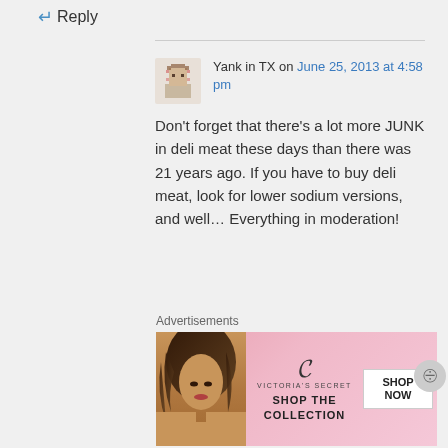Reply
Yank in TX on June 25, 2013 at 4:58 pm
Don't forget that there's a lot more JUNK in deli meat these days than there was 21 years ago. If you have to buy deli meat, look for lower sodium versions, and well… Everything in moderation!
Like
Advertisements
[Figure (photo): Victoria's Secret advertisement banner with woman's photo, VS logo, 'SHOP THE COLLECTION' text, and 'SHOP NOW' button]